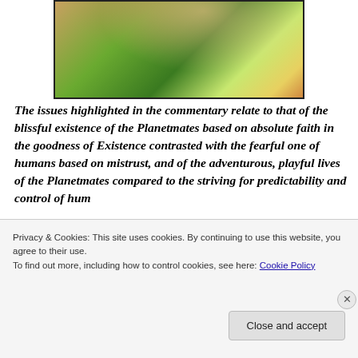[Figure (photo): Photograph of green plant leaves with berries being picked by hands, with warm sunlit tones.]
The issues highlighted in the commentary relate to that of the blissful existence of the Planetmates based on absolute faith in the goodness of Existence contrasted with the fearful one of humans based on mistrust, and of the adventurous, playful lives of the Planetmates compared to the striving for predictability and control of humans
Privacy & Cookies: This site uses cookies. By continuing to use this website, you agree to their use.
To find out more, including how to control cookies, see here: Cookie Policy
Close and accept